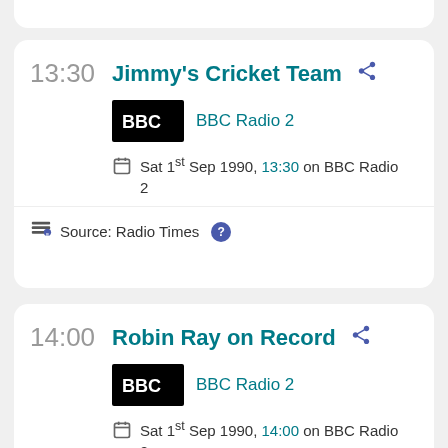13:30
Jimmy's Cricket Team
BBC Radio 2
Sat 1st Sep 1990, 13:30 on BBC Radio 2
Source: Radio Times
14:00
Robin Ray on Record
BBC Radio 2
Sat 1st Sep 1990, 14:00 on BBC Radio 2